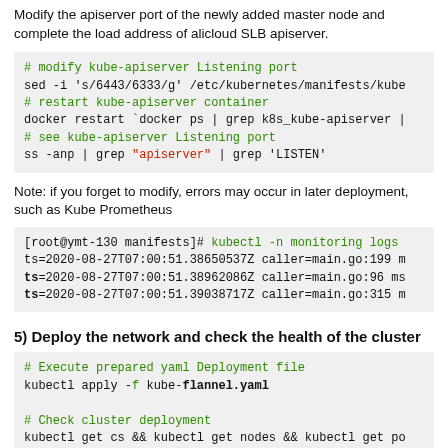Modify the apiserver port of the newly added master node and complete the load address of alicloud SLB apiserver.
# modify kube-apiserver Listening port
sed -i 's/6443/6333/g' /etc/kubernetes/manifests/kube...
# restart kube-apiserver container
docker restart `docker ps | grep k8s_kube-apiserver | ...
# see kube-apiserver Listening port
ss -anp | grep "apiserver" | grep 'LISTEN'
Note: if you forget to modify, errors may occur in later deployment, such as Kube Prometheus
[root@ymt-130 manifests]# kubectl -n monitoring logs ...
ts=2020-08-27T07:00:51.38650537Z caller=main.go:199 m...
ts=2020-08-27T07:00:51.38962086Z caller=main.go:96 ms...
ts=2020-08-27T07:00:51.39038717Z caller=main.go:315 m...
5) Deploy the network and check the health of the cluster
# Execute prepared yaml Deployment file
kubectl apply -f kube-flannel.yaml

# Check cluster deployment
kubectl get cs && kubectl get nodes && kubectl get po...

# inspect etcd Cluster health status (upload required...